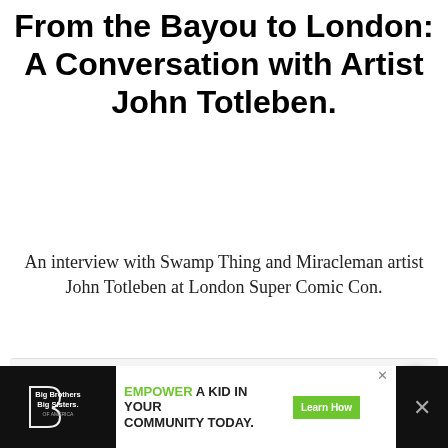From the Bayou to London: A Conversation with Artist John Totleben.
An interview with Swamp Thing and Miracleman artist John Totleben at London Super Comic Con.
READ MORE
[Figure (other): Advertisement banner at bottom: Big Brothers Big Sisters logo on dark background, text 'EMPOWER A KID IN YOUR COMMUNITY TODAY.' with green Learn How button]